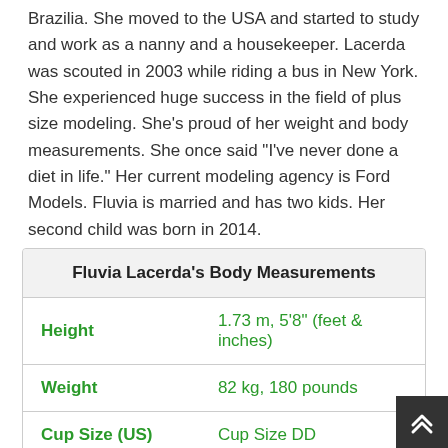Brazilia. She moved to the USA and started to study and work as a nanny and a housekeeper. Lacerda was scouted in 2003 while riding a bus in New York. She experienced huge success in the field of plus size modeling. She's proud of her weight and body measurements. She once said "I've never done a diet in life." Her current modeling agency is Ford Models. Fluvia is married and has two kids. Her second child was born in 2014.
| Height | 1.73 m, 5'8" (feet & inches) |
| Weight | 82 kg, 180 pounds |
| Cup Size (US) | Cup Size DD |
| Body Shape | Pear Body Shape |